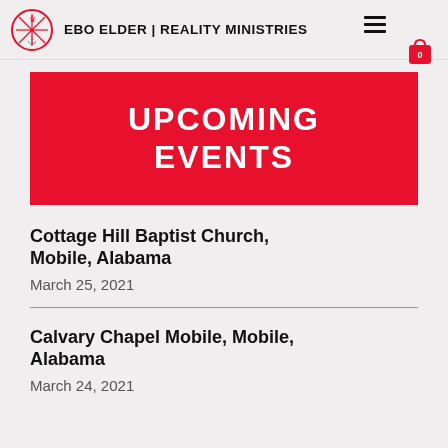EBO ELDER | REALITY MINISTRIES
UPCOMING EVENTS
Cottage Hill Baptist Church, Mobile, Alabama
March 25, 2021
Calvary Chapel Mobile, Mobile, Alabama
March 24, 2021